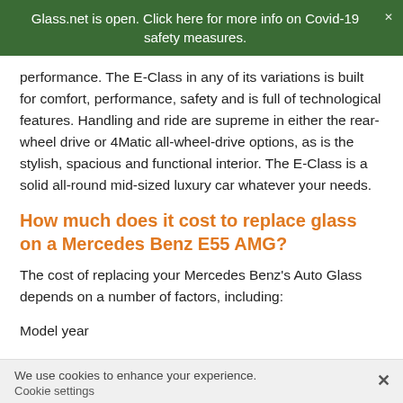Glass.net is open. Click here for more info on Covid-19 safety measures.
performance. The E-Class in any of its variations is built for comfort, performance, safety and is full of technological features. Handling and ride are supreme in either the rear-wheel drive or 4Matic all-wheel-drive options, as is the stylish, spacious and functional interior. The E-Class is a solid all-round mid-sized luxury car whatever your needs.
How much does it cost to replace glass on a Mercedes Benz E55 AMG?
The cost of replacing your Mercedes Benz's Auto Glass depends on a number of factors, including:
Model year
We use cookies to enhance your experience. Cookie settings